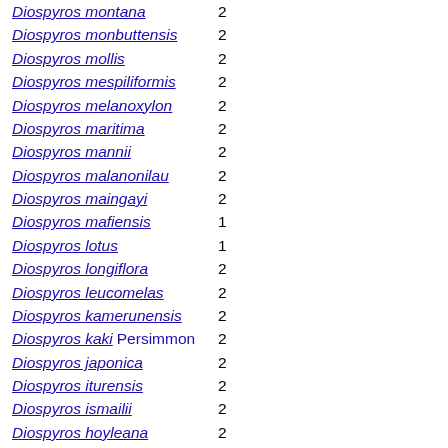Diospyros montana 2
Diospyros monbuttensis 2
Diospyros mollis 2
Diospyros mespiliformis 2
Diospyros melanoxylon 2
Diospyros maritima 2
Diospyros mannii 2
Diospyros malanonilau 2
Diospyros maingayi 2
Diospyros mafiensis 1
Diospyros lotus 1
Diospyros longiflora 2
Diospyros leucomelas 2
Diospyros kamerunensis 2
Diospyros kaki Persimmon 2
Diospyros japonica 2
Diospyros iturensis 2
Diospyros ismailii 2
Diospyros hoyleana 2
Diospyros hirsuta 2
Diospyros greenwayi 1